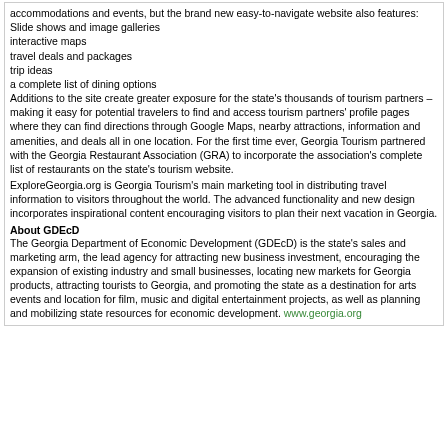accommodations and events, but the brand new easy-to-navigate website also features:
Slide shows and image galleries
interactive maps
travel deals and packages
trip ideas
a complete list of dining options
Additions to the site create greater exposure for the state's thousands of tourism partners – making it easy for potential travelers to find and access tourism partners' profile pages where they can find directions through Google Maps, nearby attractions, information and amenities, and deals all in one location. For the first time ever, Georgia Tourism partnered with the Georgia Restaurant Association (GRA) to incorporate the association's complete list of restaurants on the state's tourism website.
ExploreGeorgia.org is Georgia Tourism's main marketing tool in distributing travel information to visitors throughout the world. The advanced functionality and new design incorporates inspirational content encouraging visitors to plan their next vacation in Georgia.
About GDEcD
The Georgia Department of Economic Development (GDEcD) is the state's sales and marketing arm, the lead agency for attracting new business investment, encouraging the expansion of existing industry and small businesses, locating new markets for Georgia products, attracting tourists to Georgia, and promoting the state as a destination for arts events and location for film, music and digital entertainment projects, as well as planning and mobilizing state resources for economic development. www.georgia.org